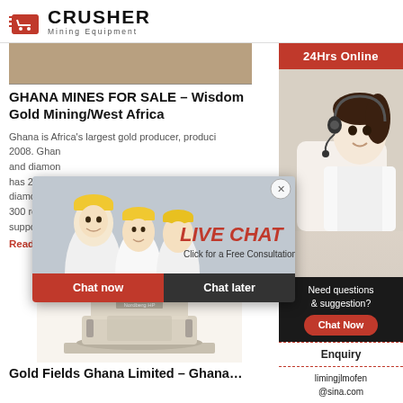CRUSHER Mining Equipment
[Figure (photo): Mining/industrial scene photo strip at top of article]
GHANA MINES FOR SALE – Wisdom Gold Mining/West Africa
Ghana is Africa's largest gold producer, producing… 2008. Ghana… and diamonds… has 23 large… diamonds, b… 300 registered… support …
Read More
[Figure (photo): Industrial crusher/cone crusher equipment]
Gold Fields Ghana Limited – Ghana…
[Figure (screenshot): Live chat popup overlay with workers in hard hats, LIVE CHAT text, Chat now and Chat later buttons]
[Figure (photo): Customer service lady with headset on right sidebar, 24Hrs Online banner, Need questions & suggestion box with Chat Now button, Enquiry link, and limingjlmofen@sina.com email]